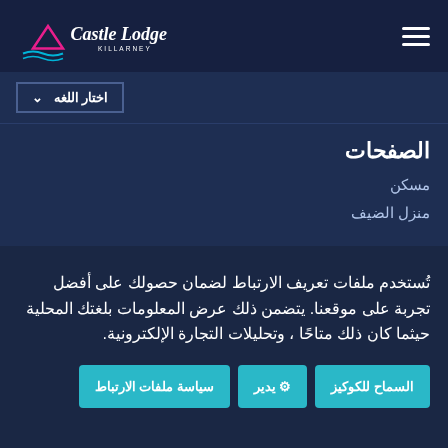[Figure (logo): Castle Lodge Killarney logo with mountain and wave icon in pink and blue, white script text]
اختار اللغه
الصفحات
مسكن
منزل الضيف
تُستخدم ملفات تعريف الارتباط لضمان حصولك على أفضل تجربة على موقعنا. يتضمن ذلك عرض المعلومات بلغتك المحلية حيثما كان ذلك متاحًا، وتحليلات التجارة الإلكترونية.
السماح للكوكيز
يدير
سياسة ملفات الارتباط